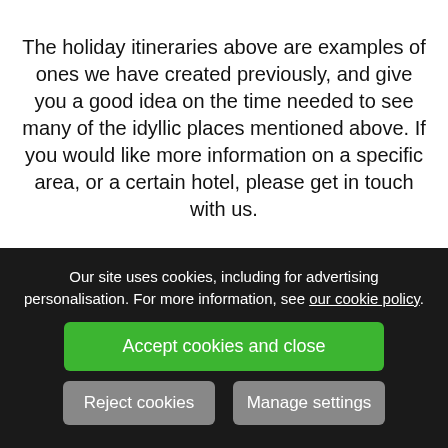The holiday itineraries above are examples of ones we have created previously, and give you a good idea on the time needed to see many of the idyllic places mentioned above. If you would like more information on a specific area, or a certain hotel, please get in touch with us.
Our site uses cookies, including for advertising personalisation. For more information, see our cookie policy.